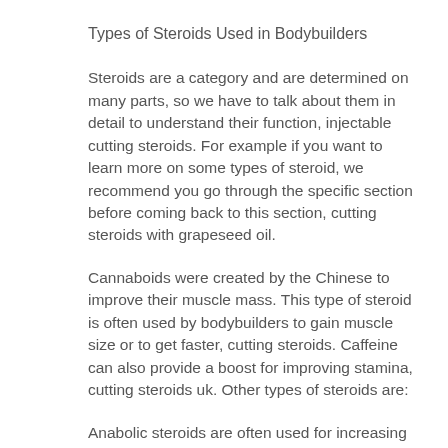Types of Steroids Used in Bodybuilders
Steroids are a category and are determined on many parts, so we have to talk about them in detail to understand their function, injectable cutting steroids. For example if you want to learn more on some types of steroid, we recommend you go through the specific section before coming back to this section, cutting steroids with grapeseed oil.
Cannaboids were created by the Chinese to improve their muscle mass. This type of steroid is often used by bodybuilders to gain muscle size or to get faster, cutting steroids. Caffeine can also provide a boost for improving stamina, cutting steroids uk. Other types of steroids are:
Anabolic steroids are often used for increasing muscle size by increasing muscle